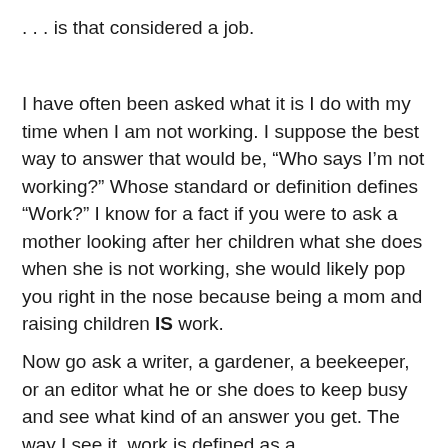. . . is that considered a job.
I have often been asked what it is I do with my time when I am not working. I suppose the best way to answer that would be, “Who says I’m not working?” Whose standard or definition defines “Work?” I know for a fact if you were to ask a mother looking after her children what she does when she is not working, she would likely pop you right in the nose because being a mom and raising children IS work.
Now go ask a writer, a gardener, a beekeeper, or an editor what he or she does to keep busy and see what kind of an answer you get. The way I see it, work is defined as a